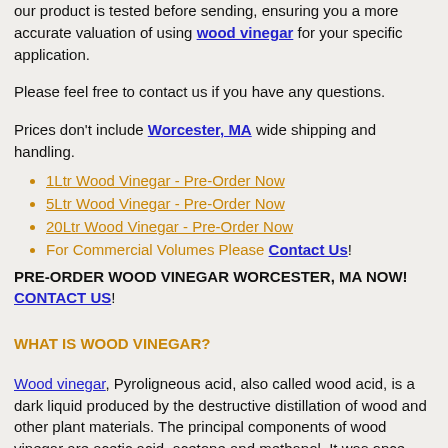our product is tested before sending, ensuring you a more accurate valuation of using wood vinegar for your specific application.
Please feel free to contact us if you have any questions.
Prices don't include Worcester, MA wide shipping and handling.
1Ltr Wood Vinegar - Pre-Order Now
5Ltr Wood Vinegar - Pre-Order Now
20Ltr Wood Vinegar - Pre-Order Now
For Commercial Volumes Please Contact Us!
PRE-ORDER WOOD VINEGAR WORCESTER, MA NOW!
CONTACT US!
WHAT IS WOOD VINEGAR?
Wood vinegar, Pyroligneous acid, also called wood acid, is a dark liquid produced by the destructive distillation of wood and other plant materials. The principal components of wood vinegar are acetic acid, acetone and methanol. It was once used as a commercial source for